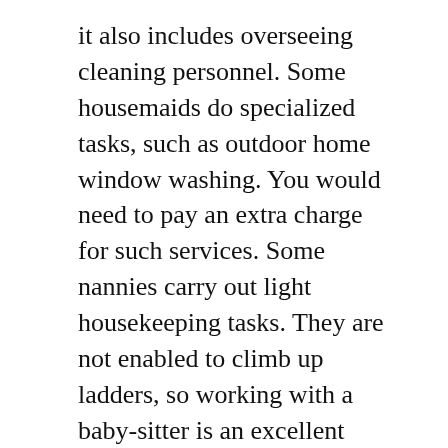it also includes overseeing cleaning personnel. Some housemaids do specialized tasks, such as outdoor home window washing. You would need to pay an extra charge for such services. Some nannies carry out light housekeeping tasks. They are not enabled to climb up ladders, so working with a baby-sitter is an excellent choice.
While caretakers aren't called for to have any type of formal education and learning, a secondary school diploma will typically be sufficient. People with previous experience in the field are a lot more valuable than those without. A caretaker with superb customer support abilities will certainly have an edge